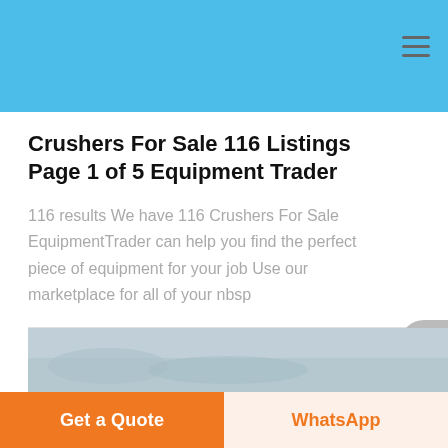Crushers For Sale 116 Listings Page 1 of 5 Equipment Trader
116 results We have 116 Crushers For Sale EquipmentTrader can help you find the perfect piece of equipment for your job Use our marketplace for all of your nbsp
read more
[Figure (photo): Partial image of a crusher or equipment, gray/dusty outdoor scene]
Get a Quote
WhatsApp